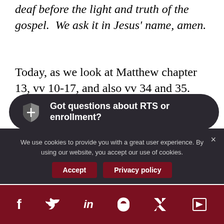deaf before the light and truth of the gospel.  We ask it in Jesus' name, amen.
Today, as we look at Matthew chapter 13, vv 10-17, and also vv 34 and 35.
[Figure (infographic): Dark rounded banner with RTS shield logo and text: Got questions about RTS or enrollment?]
numerous scholars and theologians describe why Jesus spoke in parables. I've heard folks explain in great and
We use cookies to provide you with a great user experience. By using our website, you accept our use of cookies.
[Figure (infographic): Social share bar with Facebook, Twitter, LinkedIn, Pinterest, and email icons on dark red background]